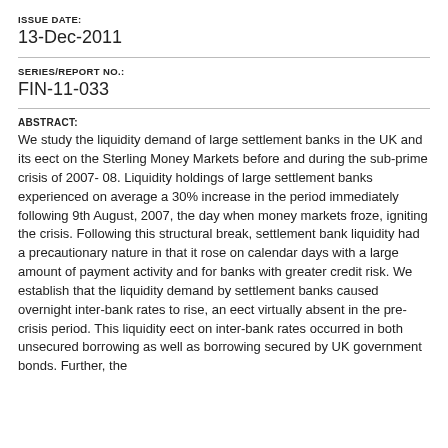ISSUE DATE:
13-Dec-2011
SERIES/REPORT NO.:
FIN-11-033
ABSTRACT:
We study the liquidity demand of large settlement banks in the UK and its eect on the Sterling Money Markets before and during the sub-prime crisis of 2007- 08. Liquidity holdings of large settlement banks experienced on average a 30% increase in the period immediately following 9th August, 2007, the day when money markets froze, igniting the crisis. Following this structural break, settlement bank liquidity had a precautionary nature in that it rose on calendar days with a large amount of payment activity and for banks with greater credit risk. We establish that the liquidity demand by settlement banks caused overnight inter-bank rates to rise, an eect virtually absent in the pre-crisis period. This liquidity eect on inter-bank rates occurred in both unsecured borrowing as well as borrowing secured by UK government bonds. Further, the